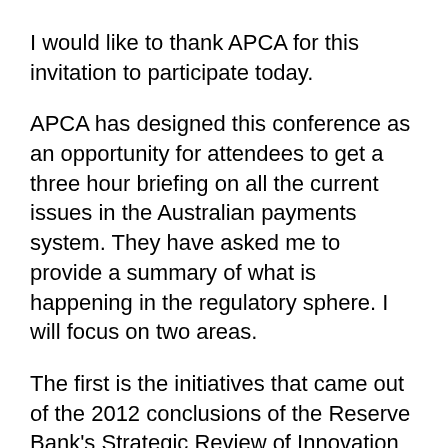I would like to thank APCA for this invitation to participate today.
APCA has designed this conference as an opportunity for attendees to get a three hour briefing on all the current issues in the Australian payments system. They have asked me to provide a summary of what is happening in the regulatory sphere. I will focus on two areas.
The first is the initiatives that came out of the 2012 conclusions of the Reserve Bank's Strategic Review of Innovation in the Payments System. The background to the Review was a growing amount of evidence that the services provided to end-users of the Australian payments system were falling behind the services available to end-users in some other countries.